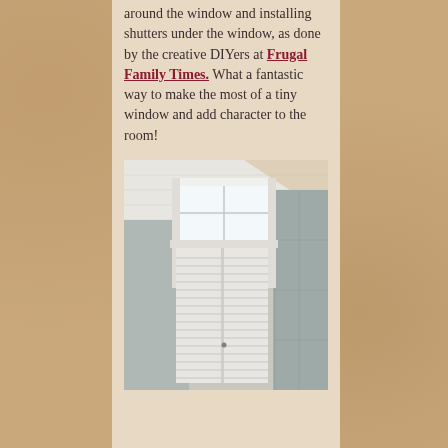around the window and installing shutters under the window, as done by the creative DIYers at Frugal Family Times. What a fantastic way to make the most of a tiny window and add character to the room!
[Figure (photo): Interior photo showing a small window with white trim near a ceiling, with white louvered shutters installed below the window along a wall with gray panels.]